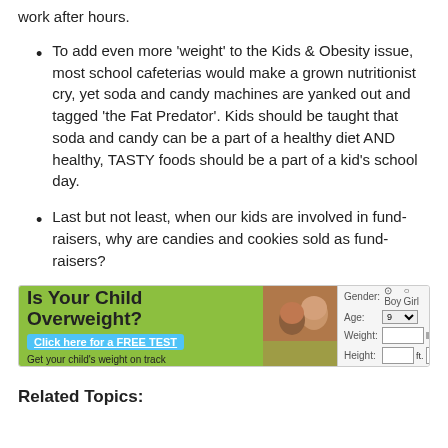work after hours.
To add even more 'weight' to the Kids & Obesity issue, most school cafeterias would make a grown nutritionist cry, yet soda and candy machines are yanked out and tagged 'the Fat Predator'. Kids should be taught that soda and candy can be a part of a healthy diet AND healthy, TASTY foods should be a part of a kid's school day.
Last but not least, when our kids are involved in fund-raisers, why are candies and cookies sold as fund-raisers?
[Figure (screenshot): Advertisement banner: 'Is Your Child Overweight? Click here for a FREE TEST. Get your child's weight on track.' with form fields for Gender, Age, Weight, Height.]
Related Topics: